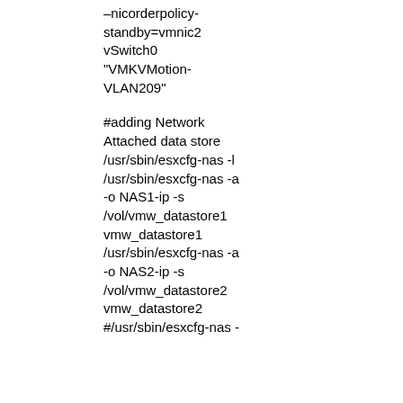--nicorderpolicy-standby=vmnic2 vSwitch0 "VMKVMotion-VLAN209"

#adding Network Attached data store
/usr/sbin/esxcfg-nas -l
/usr/sbin/esxcfg-nas -a -o NAS1-ip -s /vol/vmw_datastore1 vmw_datastore1
/usr/sbin/esxcfg-nas -a -o NAS2-ip -s /vol/vmw_datastore2 vmw_datastore2
#/usr/sbin/esxcfg-nas -